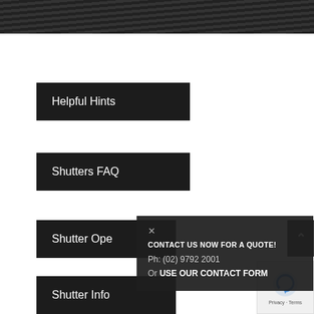Helpful Hints
Shutters FAQ
Shutter Operations
Shutter Info
CONTACT US NOW FOR A QUOTE!
Ph: (02) 9792 2001
Or USE OUR CONTACT FORM